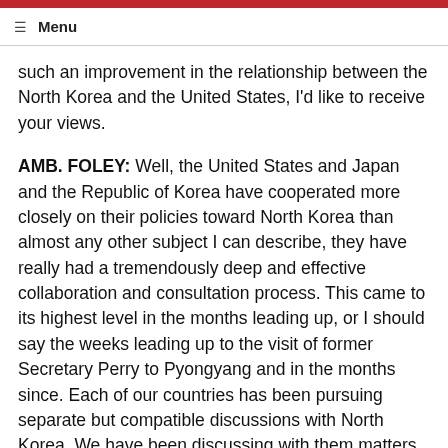☰ Menu
such an improvement in the relationship between the North Korea and the United States, I'd like to receive your views.
AMB. FOLEY: Well, the United States and Japan and the Republic of Korea have cooperated more closely on their policies toward North Korea than almost any other subject I can describe, they have really had a tremendously deep and effective collaboration and consultation process. This came to its highest level in the months leading up, or I should say the weeks leading up to the visit of former Secretary Perry to Pyongyang and in the months since. Each of our countries has been pursuing separate but compatible discussions with North Korea. We have been discussing with them matters of missile testing and technology proliferation and Japan has been conducting